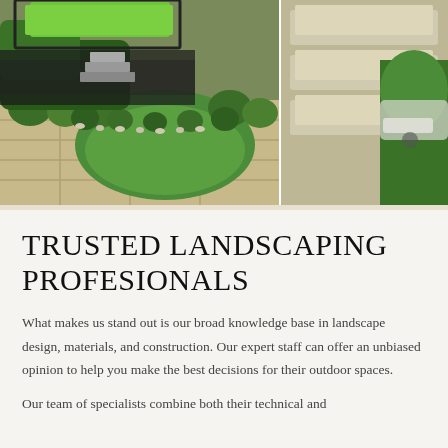[Figure (photo): Composite landscaping photo showing a well-manicured front yard with green lawn, trimmed shrubs, stone pavers, and a stepped stone pathway, along with an inset photo of stone steps.]
TRUSTED LANDSCAPING PROFESIONALS
What makes us stand out is our broad knowledge base in landscape design, materials, and construction. Our expert staff can offer an unbiased opinion to help you make the best decisions for their outdoor spaces.
Our team of specialists combine both their technical and